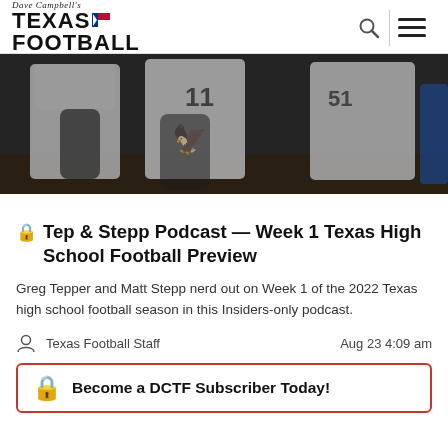Dave Campbell's Texas Football
[Figure (photo): Football players in white uniforms running on field at night game]
🔒 Tep & Stepp Podcast — Week 1 Texas High School Football Preview
Greg Tepper and Matt Stepp nerd out on Week 1 of the 2022 Texas high school football season in this Insiders-only podcast.
Texas Football Staff    Aug 23 4:09 am
🔒 Become a DCTF Subscriber Today!